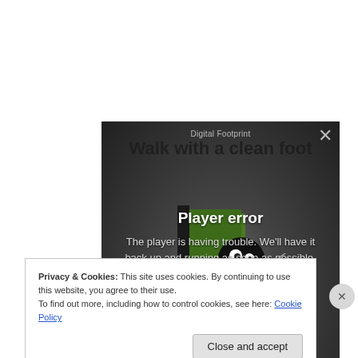[Figure (screenshot): A web page showing a video player with the title 'Digital Footprint / Walk with a clean foot' and a 'Player error' message over a dark background with a cartoon character (black bug/creature) being knocked by a green door. The message reads: 'The player is having trouble. We'll have it back up and running as soon as possible.']
Privacy & Cookies: This site uses cookies. By continuing to use this website, you agree to their use.
To find out more, including how to control cookies, see here: Cookie Policy